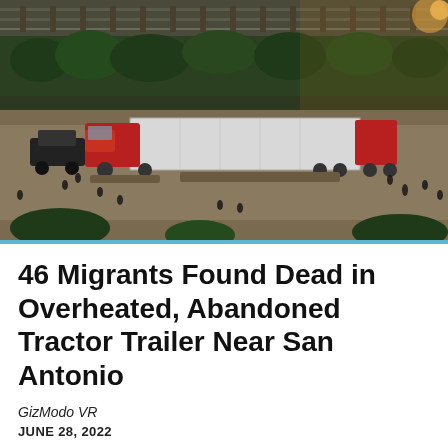[Figure (photo): Aerial view of a red tractor trailer truck parked on a road near trees and railway tracks, with several people standing around it. Scene appears to be at dusk or dawn with warm lighting.]
46 Migrants Found Dead in Overheated, Abandoned Tractor Trailer Near San Antonio
GizModo VR
JUNE 28, 2022
Nearly four dozen migrants were found dead inside of an abandoned tractor trailer just outside of San Antonio